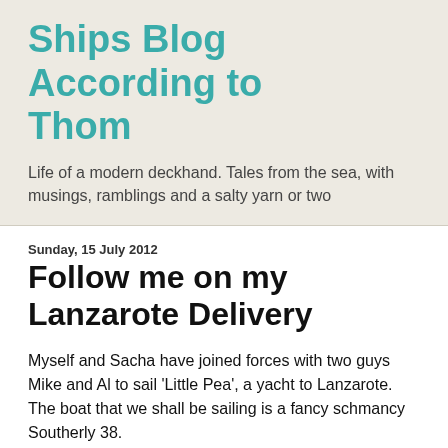Ships Blog According to Thom
Life of a modern deckhand. Tales from the sea, with musings, ramblings and a salty yarn or two
Sunday, 15 July 2012
Follow me on my Lanzarote Delivery
Myself and Sacha have joined forces with two guys Mike and Al to sail 'Little Pea', a yacht to Lanzarote. The boat that we shall be sailing is a fancy schmancy Southerly 38.
It is intended then to go on and take part in the ARC race, a transatlantic jolly to the Caribbean. This race starts at the Canary Islands so it is there we shall leave her, in mint condition for the owner to take over and have the fun of the